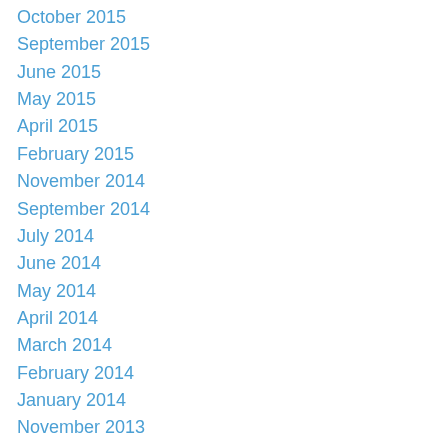October 2015
September 2015
June 2015
May 2015
April 2015
February 2015
November 2014
September 2014
July 2014
June 2014
May 2014
April 2014
March 2014
February 2014
January 2014
November 2013
October 2013
September 2013
August 2013
July 2013